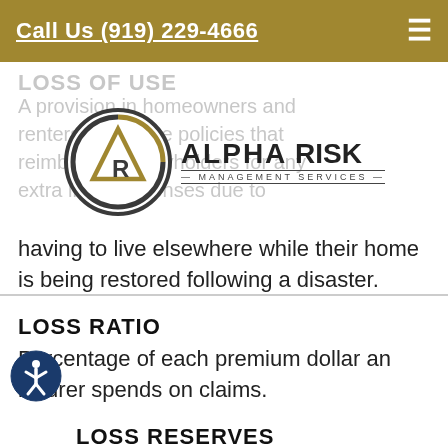Call Us (919) 229-4666
[Figure (logo): Alpha Risk Management Services logo with circular emblem and text]
LOSS OF USE
A provision in homeowners and renters insurance policies that reimburses policyholders for any extra living expenses due to having to live elsewhere while their home is being restored following a disaster.
LOSS RATIO
Percentage of each premium dollar an insurer spends on claims.
LOSS RESERVES
The company's best estimate of what it will pay for claims, which is periodically readjusted. The...